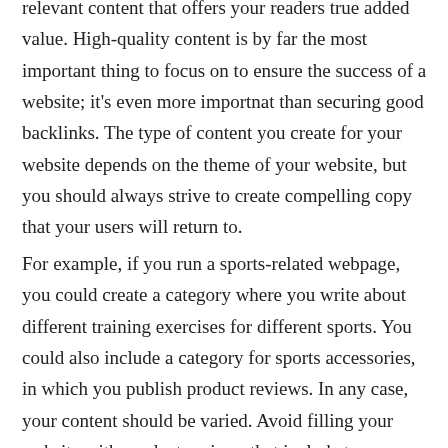relevant content that offers your readers true added value. High-quality content is by far the most important thing to focus on to ensure the success of a website; it's even more importnat than securing good backlinks. The type of content you create for your website depends on the theme of your website, but you should always strive to create compelling copy that your users will return to.
For example, if you run a sports-related webpage, you could create a category where you write about different training exercises for different sports. You could also include a category for sports accessories, in which you publish product reviews. In any case, your content should be varied. Avoid filling your website with product reviews that include too many Affiliate links. Too much of a hard-sell approach will result in readers and search engines treating your content as though it's spam. Always ensure the